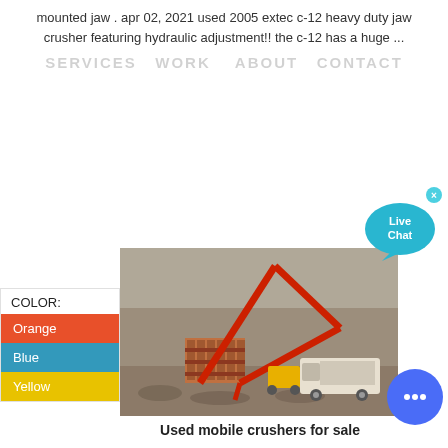mounted jaw . apr 02, 2021 used 2005 extec c-12 heavy duty jaw crusher featuring hydraulic adjustment!! the c-12 has a huge ...
SERVICES  WORK   ABOUT  CONTACT
[Figure (other): Live Chat button — cyan speech bubble with 'Live Chat' text and an X close button]
COLOR:
Orange
Blue
Yellow
[Figure (photo): Photograph of large red crane/concrete pump machinery operating at a quarry or construction site with rocky terrain and a white truck in the background]
Used mobile crushers for sale
[Figure (other): Round blue chat button with three dots (ellipsis) icon]